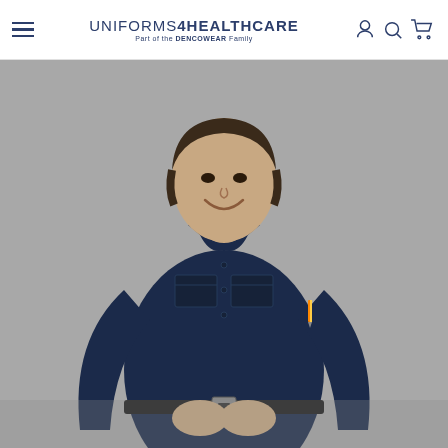UNIFORMS4HEALTHCARE — Part of the DENCOWEAR Family
[Figure (photo): Man wearing a navy long-sleeve work shirt with dual chest pockets and a pen in the sleeve pocket, smiling, against a grey background. Product photo for Uniforms4Healthcare.]